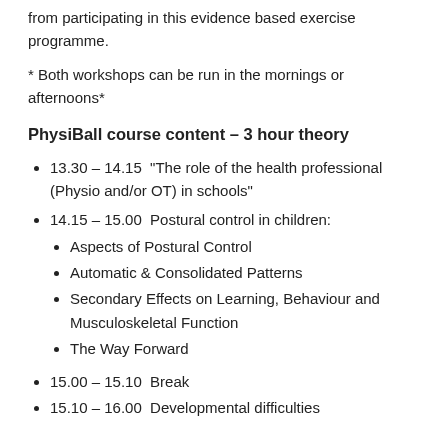from participating in this evidence based exercise programme.
* Both workshops can be run in the mornings or afternoons*
PhysiBall course content – 3 hour theory
13.30 – 14.15  "The role of the health professional (Physio and/or OT) in schools"
14.15 – 15.00  Postural control in children:
Aspects of Postural Control
Automatic & Consolidated Patterns
Secondary Effects on Learning, Behaviour and Musculoskeletal Function
The Way Forward
15.00 – 15.10  Break
15.10 – 16.00  Developmental difficulties